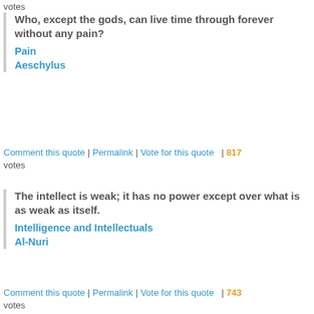votes
Who, except the gods, can live time through forever without any pain?
Pain
Aeschylus
Comment this quote | Permalink | Vote for this quote | 817 votes
The intellect is weak; it has no power except over what is as weak as itself.
Intelligence and Intellectuals
Al-Nuri
Comment this quote | Permalink | Vote for this quote | 743 votes